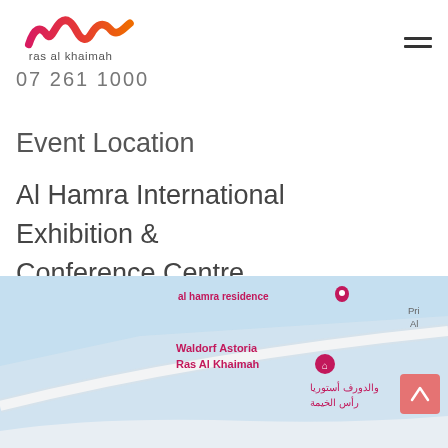[Figure (logo): Ras Al Khaimah logo with red/orange wave mark above the text 'ras al khaimah']
07 261 1000
Event Location
Al Hamra International Exhibition & Conference Centre
United Arab Emirates
[Figure (map): Google Maps screenshot showing Al Hamra area in Ras Al Khaimah, UAE. Labels visible: 'al hamra residence', 'Waldorf Astoria Ras Al Khaimah' with Arabic text 'والدورف أستوريا رأس الخيمة', and a scroll-up button.]